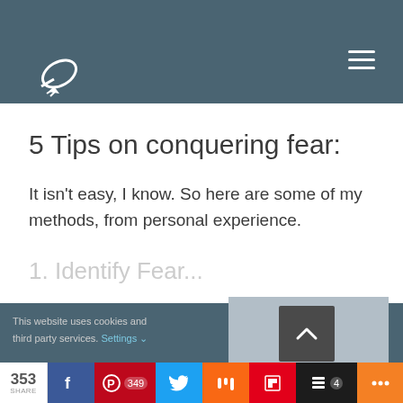longer they'll be around for. If my ramblings to teach you anything, I hope it's the lesson of pushing the boundaries of your comfort zone.
5 Tips on conquering fear:
It isn't easy, I know. So here are some of my methods, from personal experience.
This website uses cookies and third party services. Settings
353 Share